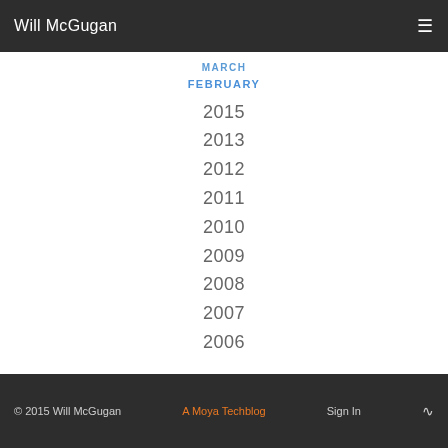Will McGugan ☰
MARCH
FEBRUARY
2015
2013
2012
2011
2010
2009
2008
2007
2006
© 2015 Will McGugan    A Moya Techblog    Sign In    ⊕